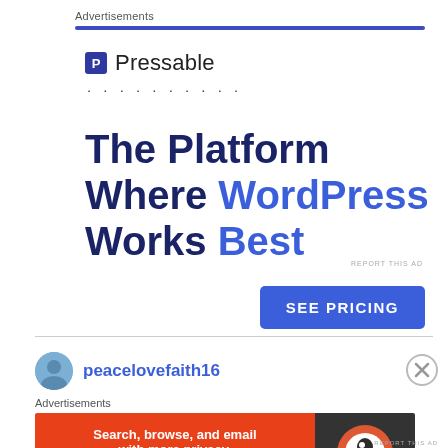Advertisements
[Figure (infographic): Pressable advertisement: logo with blue 'P' icon and brand name, dotted line, large headline 'The Platform Where WordPress Works Best', blue 'SEE PRICING' button, and 'REPORT THIS AD' link]
peacelovefaith16
Advertisements
[Figure (infographic): DuckDuckGo advertisement banner: orange left side with text 'Search, browse, and email with more privacy. All in One Free App', dark right side with DuckDuckGo logo]